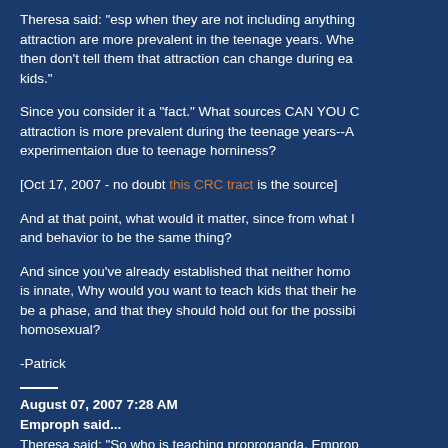Theresa said: "esp when they are not including anything attraction are more prevalent in the teenage years. Whe then don't tell them that attraction can change during ea kids."
Since you consider it a "fact." What sources CAN YOU C attraction is more prevalent during the teenage years--A experimentaion due to teenage horniness?
[Oct 17, 2007 - no doubt this CRC tract is the source]
And at that point, what would it matter, since from what I and behavior to be the same thing?
And since you've already established that neither homo is innate, Why would you want to teach kids that their he be a phase, and that they should hold out for the possibi homosexual?
-Patrick
August 07, 2007 7:28 AM
Emproph said...
Theresa said: "So who is teaching proproganda, Emprop
Theresa, I am a first hand eye witness to the "phenomer